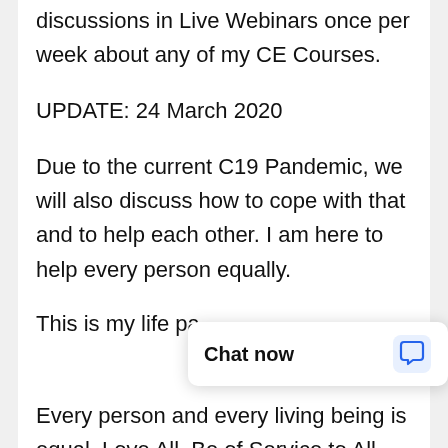discussions in Live Webinars once per week about any of my CE Courses.
UPDATE: 24 March 2020
Due to the current C19 Pandemic, we will also discuss how to cope with that and to help each other. I am here to help every person equally.
This is my life pa
[Figure (other): Chat now popup widget with speech bubble icon]
Every person and every living being is equal. Love All. Be of Service to All.